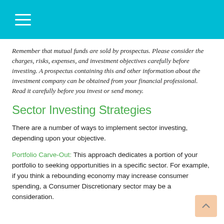Remember that mutual funds are sold by prospectus. Please consider the charges, risks, expenses, and investment objectives carefully before investing. A prospectus containing this and other information about the investment company can be obtained from your financial professional. Read it carefully before you invest or send money.
Sector Investing Strategies
There are a number of ways to implement sector investing, depending upon your objective.
Portfolio Carve-Out: This approach dedicates a portion of your portfolio to seeking opportunities in a specific sector. For example, if you think a rebounding economy may increase consumer spending, a Consumer Discretionary sector may be a consideration.